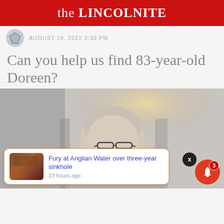the LINCOLNITE
AUGUST 19, 2022 3:30 PM
Can you help us find 83-year-old Doreen?
[Figure (photo): Photo of an elderly woman with glasses and short grey hair, sitting indoors with warm lighting in the background.]
Fury at Anglian Water over three-year sinkhole
23 hours ago